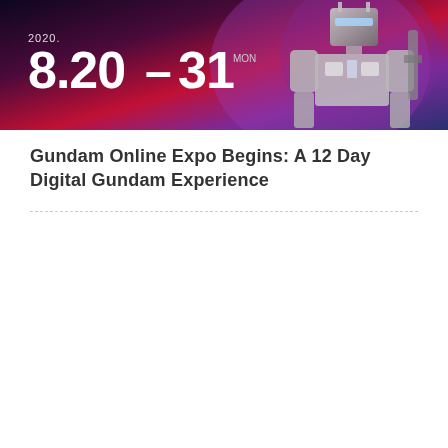[Figure (photo): Banner image for Gundam Online Expo 2020 showing dates 8.20-31 with a dark purple/magenta gradient background and a Gundam robot illustration on the right side]
Gundam Online Expo Begins: A 12 Day Digital Gundam Experience